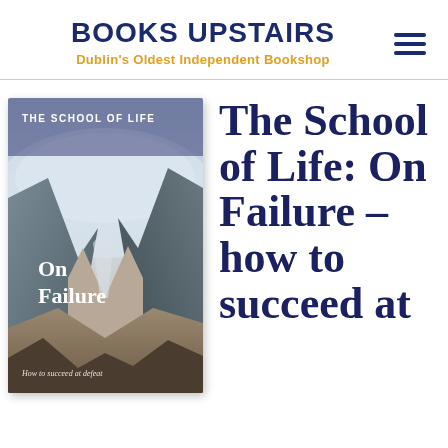BOOKS UPSTAIRS
Dublin's Oldest Independent Bookshop
[Figure (photo): Book cover of 'The School of Life: On Failure – how to succeed at defeat', showing a dramatic mountain landscape with fog/mist. Text on cover reads 'THE SCHOOL OF LIFE' at top, 'On Failure' in the center, and 'How to succeed at defeat' near the bottom. Cover uses muted blue-grey and brown tones.]
The School of Life: On Failure – how to succeed at